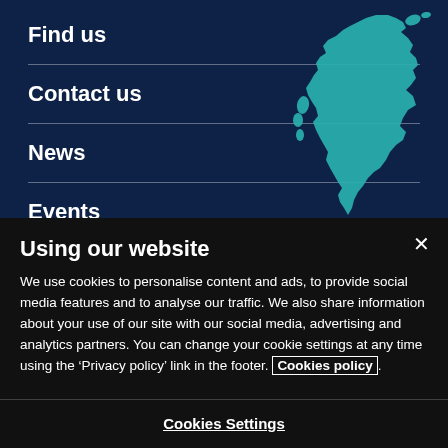Find us
Contact us
News
Events
[Figure (map): Teal/turquoise silhouette map of Scotland on dark navy background]
Using our website
We use cookies to personalise content and ads, to provide social media features and to analyse our traffic. We also share information about your use of our site with our social media, advertising and analytics partners. You can change your cookie settings at any time using the ‘Privacy policy’ link in the footer. Cookies policy.
Cookies Settings